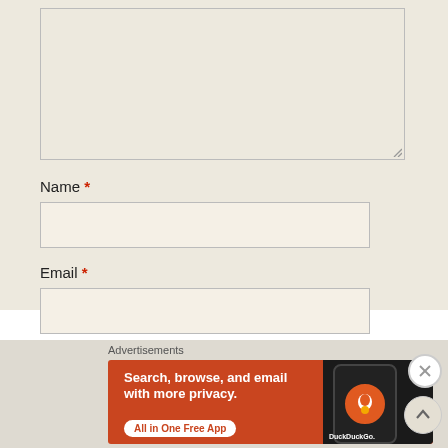[Figure (screenshot): Textarea input box (empty) with resize handle at bottom-right]
Name *
[Figure (screenshot): Name text input field (empty)]
Email *
[Figure (screenshot): Email text input field (empty)]
Advertisements
[Figure (screenshot): DuckDuckGo advertisement banner: 'Search, browse, and email with more privacy. All in One Free App' with phone image and DuckDuckGo logo]